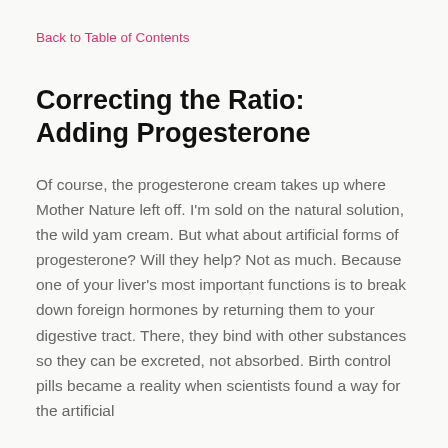Back to Table of Contents
Correcting the Ratio: Adding Progesterone
Of course, the progesterone cream takes up where Mother Nature left off. I'm sold on the natural solution, the wild yam cream. But what about artificial forms of progesterone? Will they help? Not as much. Because one of your liver's most important functions is to break down foreign hormones by returning them to your digestive tract. There, they bind with other substances so they can be excreted, not absorbed. Birth control pills became a reality when scientists found a way for the artificial